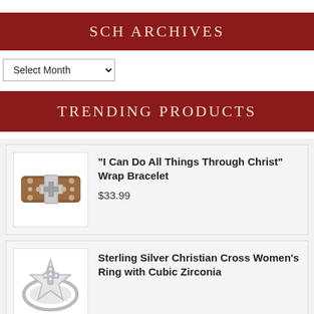SCH ARCHIVES
Select Month
TRENDING PRODUCTS
[Figure (photo): Brown leather wrap bracelet with silver cross and stud accents]
"I Can Do All Things Through Christ" Wrap Bracelet
$33.99
[Figure (photo): Sterling silver ring with Christian cross design set with cubic zirconia stones]
Sterling Silver Christian Cross Women's Ring with Cubic Zirconia